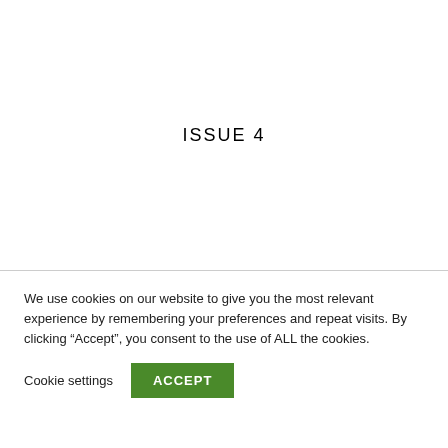ISSUE 4
We use cookies on our website to give you the most relevant experience by remembering your preferences and repeat visits. By clicking “Accept”, you consent to the use of ALL the cookies.
Cookie settings
ACCEPT